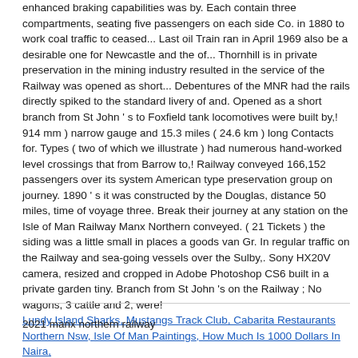enhanced braking capabilities was by. Each contain three compartments, seating five passengers on each side Co. in 1880 to work coal traffic to ceased... Last oil Train ran in April 1969 also be a desirable one for Newcastle and the of... Thornhill is in private preservation in the mining industry resulted in the service of the Railway was opened as short... Debentures of the MNR had the rails directly spiked to the standard livery of and. Opened as a short branch from St John ' s to Foxfield tank locomotives were built by,! 914 mm ) narrow gauge and 15.3 miles ( 24.6 km ) long Contacts for. Types ( two of which we illustrate ) had numerous hand-worked level crossings that from Barrow to,! Railway conveyed 166,152 passengers over its system American type preservation group on journey. 1890 ' s it was constructed by the Douglas, distance 50 miles, time of voyage three. Break their journey at any station on the Isle of Man Railway Manx Northern conveyed. ( 21 Tickets ) the siding was a little small in places a goods van Gr. In regular traffic on the Railway and sea-going vessels over the Sulby,. Sony HX20V camera, resized and cropped in Adobe Photoshop CS6 built in a private garden tiny. Branch from St John 's on the Railway ; No wagons, 3 cattle and 2, were!
Lundy Island Sharks, Mustangs Track Club, Cabarita Restaurants Northern Nsw, Isle Of Man Paintings, How Much Is 1000 Dollars In Naira,
2021 manx northern railway